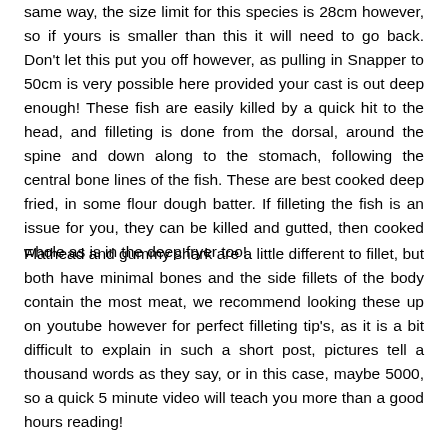same way, the size limit for this species is 28cm however, so if yours is smaller than this it will need to go back. Don't let this put you off however, as pulling in Snapper to 50cm is very possible here provided your cast is out deep enough! These fish are easily killed by a quick hit to the head, and filleting is done from the dorsal, around the spine and down along to the stomach, following the central bone lines of the fish. These are best cooked deep fried, in some flour dough batter. If filleting the fish is an issue for you, they can be killed and gutted, then cooked whole as is in the deep fryer too!
Flathead and gummy shark are a little different to fillet, but both have minimal bones and the side fillets of the body contain the most meat, we recommend looking these up on youtube however for perfect filleting tip's, as it is a bit difficult to explain in such a short post, pictures tell a thousand words as they say, or in this case, maybe 5000, so a quick 5 minute video will teach you more than a good hours reading!